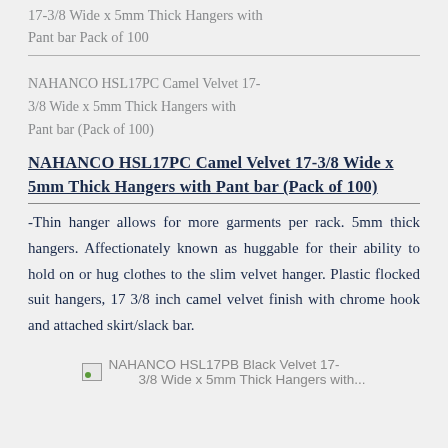17-3⁄8 Wide x 5mm Thick Hangers with Pant bar Pack of 100
NAHANCO HSL17PC Camel Velvet 17-3/8 Wide x 5mm Thick Hangers with Pant bar (Pack of 100)
NAHANCO HSL17PC Camel Velvet 17-3/8 Wide x 5mm Thick Hangers with Pant bar (Pack of 100)
-Thin hanger allows for more garments per rack. 5mm thick hangers. Affectionately known as huggable for their ability to hold on or hug clothes to the slim velvet hanger. Plastic flocked suit hangers, 17 3/8 inch camel velvet finish with chrome hook and attached skirt/slack bar.
[Figure (photo): Image placeholder for NAHANCO HSL17PB Black Velvet 17-3/8 Wide x 5mm Thick Hangers with...]